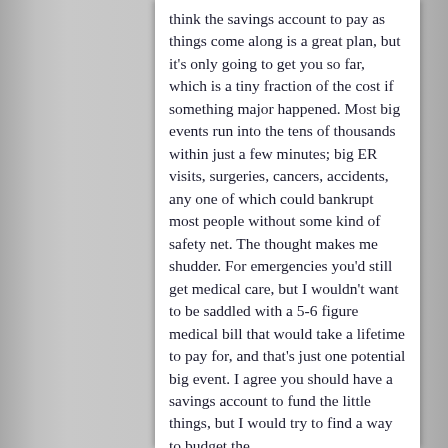think the savings account to pay as things come along is a great plan, but it's only going to get you so far, which is a tiny fraction of the cost if something major happened. Most big events run into the tens of thousands within just a few minutes; big ER visits, surgeries, cancers, accidents, any one of which could bankrupt most people without some kind of safety net. The thought makes me shudder. For emergencies you'd still get medical care, but I wouldn't want to be saddled with a 5-6 figure medical bill that would take a lifetime to pay for, and that's just one potential big event. I agree you should have a savings account to fund the little things, but I would try to find a way to budget the
[Figure (other): Scroll up arrow button, circular grey button with dark upward-pointing triangle]